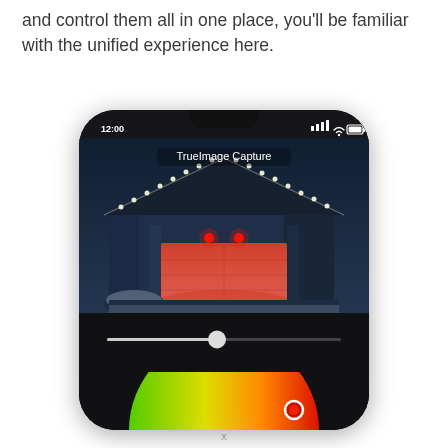and control them all in one place, you'll be familiar with the unified experience here.
[Figure (screenshot): A smartphone screen showing a smart home app with 'TrueImage Capture' label, displaying a house exterior at night with Christmas lights, a garage door illuminated in red, a brightness/color slider, and a color wheel (green to red gradient) at the bottom.]
x